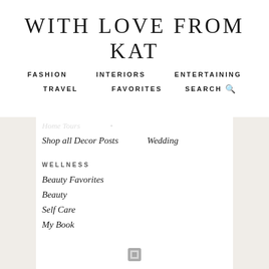WITH LOVE FROM KAT
FASHION   INTERIORS   ENTERTAINING
TRAVEL   FAVORITES   SEARCH
Shop all Decor Posts
Wedding
WELLNESS
Beauty Favorites
Beauty
Self Care
My Book